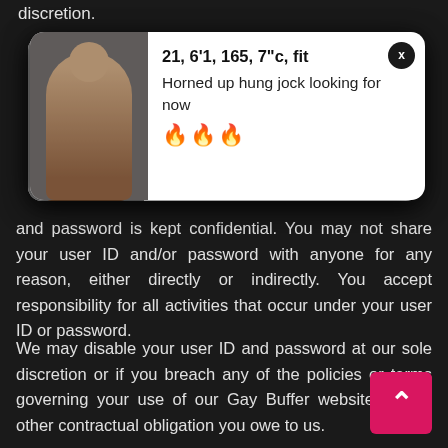discretion.
[Figure (screenshot): Popup card overlay showing a profile photo on the left and text on the right: '21, 6'1, 165, 7"c, fit' (bold title), 'Horned up hung jock looking for now' with three fire emojis. An X close button is in the top right corner of the card.]
and password is kept confidential. You may not share your user ID and/or password with anyone for any reason, either directly or indirectly. You accept responsibility for all activities that occur under your user ID or password.
We may disable your user ID and password at our sole discretion or if you breach any of the policies or terms governing your use of our Gay Buffer website or any other contractual obligation you owe to us.
Third-Party Products/Services
You understand that, except for information, products or services clearly identified as being supplied by our website, our website does not operate, control or endorse any